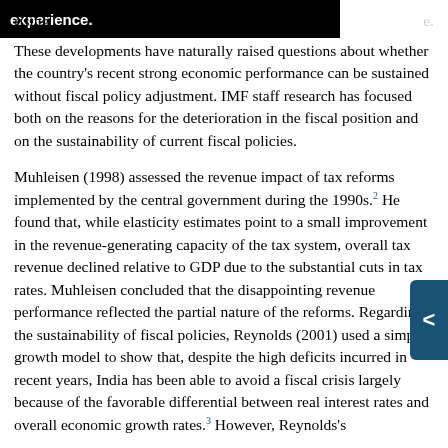rising [redacted] experience. [end redacted] These developments have naturally raised questions about whether the country's recent strong economic performance can be sustained without fiscal policy adjustment. IMF staff research has focused both on the reasons for the deterioration in the fiscal position and on the sustainability of current fiscal policies.
Muhleisen (1998) assessed the revenue impact of tax reforms implemented by the central government during the 1990s.[2] He found that, while elasticity estimates point to a small improvement in the revenue-generating capacity of the tax system, overall tax revenue declined relative to GDP due to the substantial cuts in tax rates. Muhleisen concluded that the disappointing revenue performance reflected the partial nature of the reforms. Regarding the sustainability of fiscal policies, Reynolds (2001) used a simple growth model to show that, despite the high deficits incurred in recent years, India has been able to avoid a fiscal crisis largely because of the favorable differential between real interest rates and overall economic growth rates.[3] However, Reynolds's